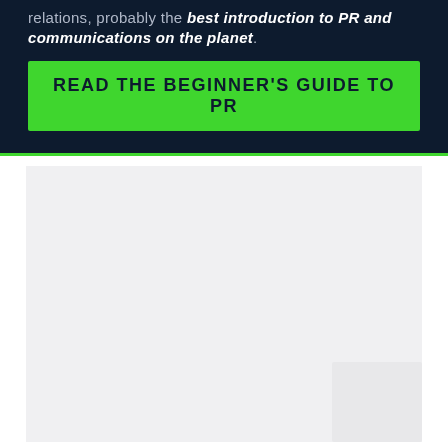relations, probably the best introduction to PR and communications on the planet.
[Figure (other): Green call-to-action button reading READ THE BEGINNER'S GUIDE TO PR on dark navy background]
[Figure (other): Light grey content placeholder area with a white card element in the bottom right corner]